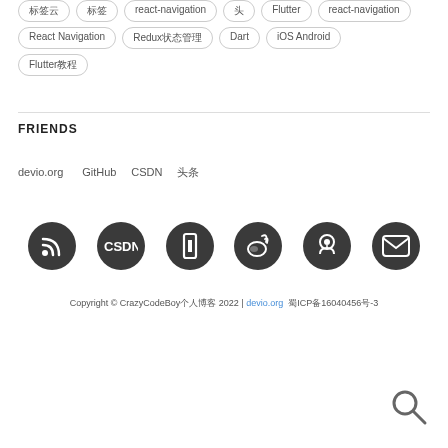标签云 标签 react-navigation Flutter iOS Android Flutter教程 React Navigation Redux状态管理 Dart
FRIENDS
devio.org  GitHub  CSDN  头条
[Figure (illustration): Row of 6 dark circular social/platform icons: RSS feed, CSDN, vertical bar/bookmark, Weibo, GitHub, Email]
Copyright © CrazyCodeBoy个人博客 2022 | devio.org  蜀ICP备16040456号-3